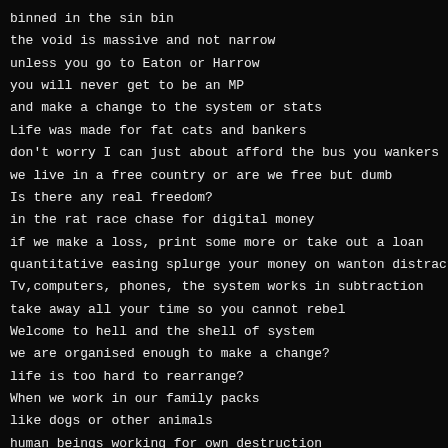binned in the sin bin
the void is massive and not narrow
unless you go to Eaton or Harrow
you will never get to be an MP
and make a change to the system or stats
Life was made for fat cats and bankers
don't worry I can just about afford the bus you wankers
we live in a free country or are we free but dumb
Is there any real freedom?
in the rat race chase for digital money
if we make a loss, print some more or take out a loan
quantitative easing splurge your money on wanton distractions
Tv,computers, phones, the system works in subtraction
take away all your time so you cannot rebel
Welcome to hell and the shell of system
we are organised enough to make a change?
life is too hard to rearrange?
When we work in our family packs
like dogs or other animals
human beings working for own destruction
the planet is being destroyed by plastic and green house gases
while we too distracted by prosthetic tits and asses
getting them done or seeing them on show